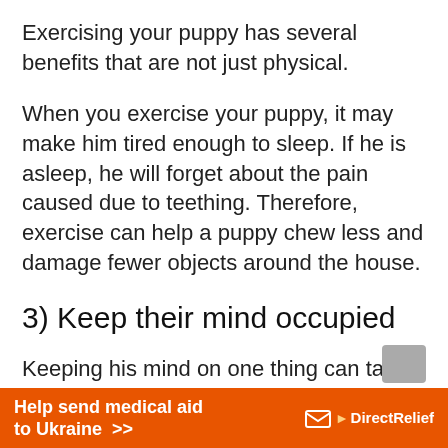Exercising your puppy has several benefits that are not just physical.
When you exercise your puppy, it may make him tired enough to sleep. If he is asleep, he will forget about the pain caused due to teething. Therefore, exercise can help a puppy chew less and damage fewer objects around the house.
3) Keep their mind occupied
Keeping his mind on one thing can take it off another!
An occupied puppy will not be paying attention
[Figure (infographic): Orange advertisement banner: 'Help send medical aid to Ukraine >>' with Direct Relief logo on the right]